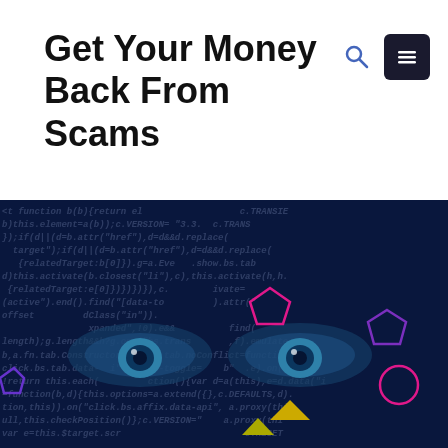Get Your Money Back From Scams
[Figure (screenshot): Dark blue background with code text overlay and a pair of eyes visible through the code, with colorful geometric shapes (pentagons, circle, triangles) scattered across the image]